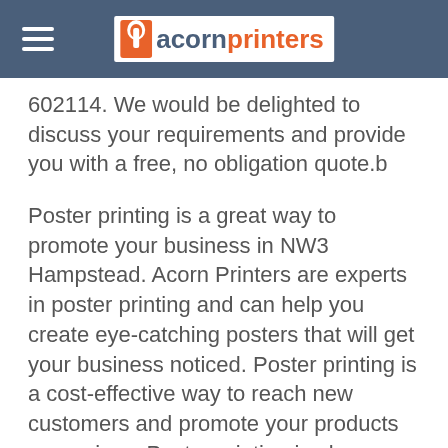acornprinters
602114. We would be delighted to discuss your requirements and provide you with a free, no obligation quote.b
Poster printing is a great way to promote your business in NW3 Hampstead. Acorn Printers are experts in poster printing and can help you create eye-catching posters that will get your business noticed. Poster printing is a cost-effective way to reach new customers and promote your products or services. Poster printing is also an excellent way to generate new leads and sales. Acorn Printers can help you design and print posters that are sure to get your business